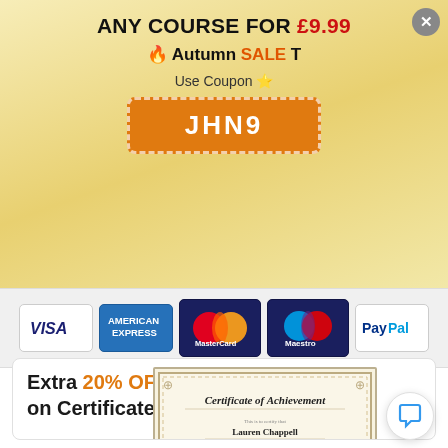ANY COURSE FOR £9.99
🔥 Autumn SALE T
Use Coupon
JHN9
[Figure (logo): Payment method logos: VISA, American Express, MasterCard, Maestro, PayPal]
Extra 20% OFF on Certificate Now
[Figure (illustration): Certificate of Achievement sample showing Lauren Chappell, Level 2 Diploma in Child Care, with CPD and CIQ logos]